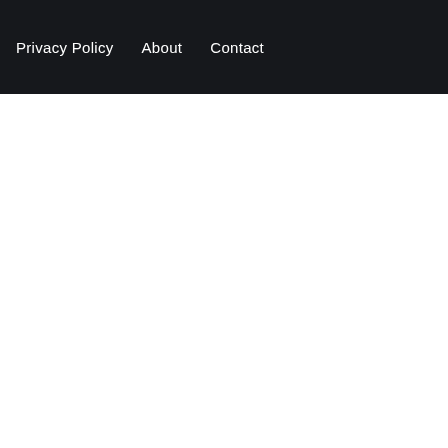Privacy Policy  About  Contact